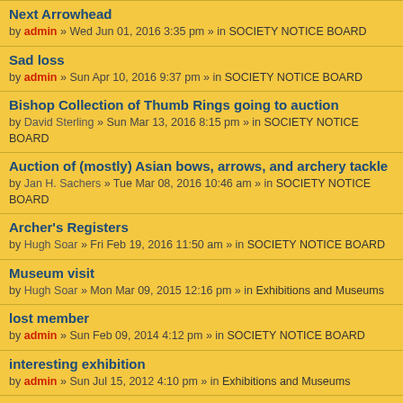Next Arrowhead
by admin » Wed Jun 01, 2016 3:35 pm » in SOCIETY NOTICE BOARD
Sad loss
by admin » Sun Apr 10, 2016 9:37 pm » in SOCIETY NOTICE BOARD
Bishop Collection of Thumb Rings going to auction
by David Sterling » Sun Mar 13, 2016 8:15 pm » in SOCIETY NOTICE BOARD
Auction of (mostly) Asian bows, arrows, and archery tackle
by Jan H. Sachers » Tue Mar 08, 2016 10:46 am » in SOCIETY NOTICE BOARD
Archer's Registers
by Hugh Soar » Fri Feb 19, 2016 11:50 am » in SOCIETY NOTICE BOARD
Museum visit
by Hugh Soar » Mon Mar 09, 2015 12:16 pm » in Exhibitions and Museums
lost member
by admin » Sun Feb 09, 2014 4:12 pm » in SOCIETY NOTICE BOARD
interesting exhibition
by admin » Sun Jul 15, 2012 4:10 pm » in Exhibitions and Museums
Forum Forum members...